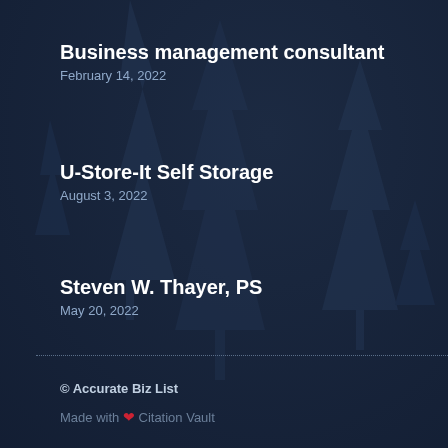Business management consultant
February 14, 2022
U-Store-It Self Storage
August 3, 2022
Steven W. Thayer, PS
May 20, 2022
© Accurate Biz List
Made with ❤ Citation Vault